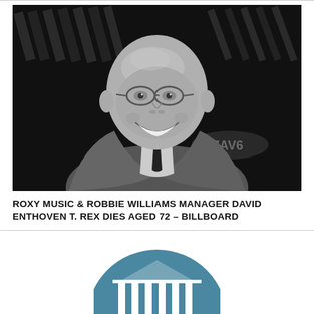[Figure (photo): Black and white photograph of a bald man with glasses, wearing a grey blazer and white shirt, smiling broadly. Background shows dark venue with structural elements.]
ROXY MUSIC & ROBBIE WILLIAMS MANAGER DAVID ENTHOVEN T. REX DIES AGED 72 – BILLBOARD
[Figure (illustration): Teal/steel-blue circular icon showing a classical building with columns and a triangular pediment (like a government or institutional building), partially visible at bottom of page.]